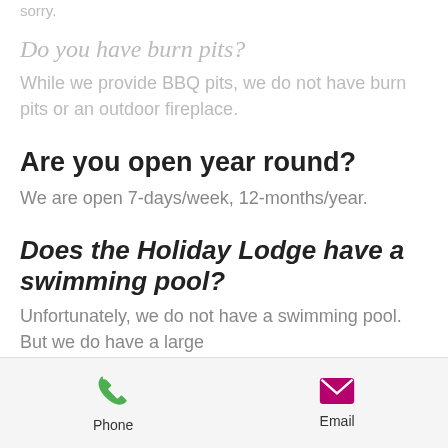sorry.
Do you have burn pits?
While we provide BBQ pits, we do not have burn pits or an outdoor fireplace.
Are you open year round?
We are open 7-days/week, 12-months/year.
Does the Holiday Lodge have a swimming pool?
Unfortunately, we do not have a swimming pool.  But we do have a large
Phone   Email